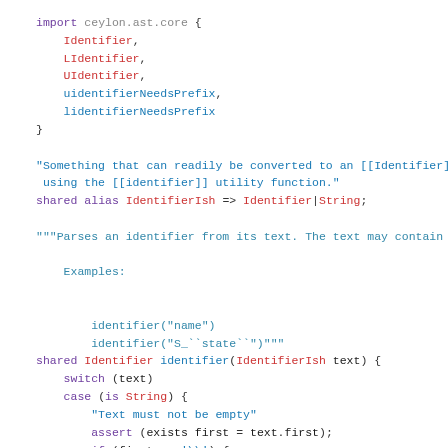import ceylon.ast.core {
    Identifier,
    LIdentifier,
    UIdentifier,
    uidentifierNeedsPrefix,
    lidentifierNeedsPrefix
}

"Something that can readily be converted to an [[Identifier]] using the [[identifier]] utility function."
shared alias IdentifierIsh => Identifier|String;

"""Parses an identifier from its text. The text may contain t

    Examples:


        identifier("name")
        identifier("S_``state``")"""
shared Identifier identifier(IdentifierIsh text) {
    switch (text)
    case (is String) {
        "Text must not be empty"
        assert (exists first = text.first);
        if (first == '\\') {
            if (text.startsWith("\\i")) {
                return LIdentifier(text[2...], true);